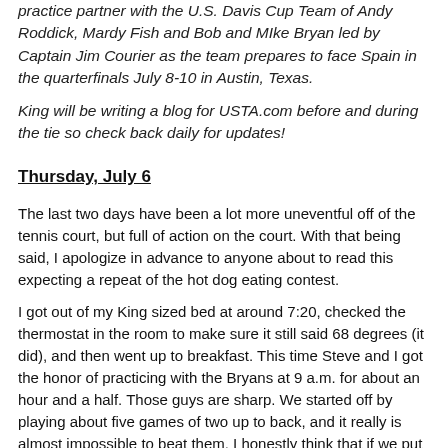practice partner with the U.S. Davis Cup Team of Andy Roddick, Mardy Fish and Bob and MIke Bryan led by Captain Jim Courier as the team prepares to face Spain in the quarterfinals July 8-10 in Austin, Texas.
King will be writing a blog for USTA.com before and during the tie so check back daily for updates!
Thursday, July 6
The last two days have been a lot more uneventful off of the tennis court, but full of action on the court. With that being said, I apologize in advance to anyone about to read this expecting a repeat of the hot dog eating contest.
I got out of my King sized bed at around 7:20, checked the thermostat in the room to make sure it still said 68 degrees (it did), and then went up to breakfast. This time Steve and I got the honor of practicing with the Bryans at 9 a.m. for about an hour and a half. Those guys are sharp. We started off by playing about five games of two up to back, and it really is almost impossible to beat them. I honestly think that if we put all three practice partners on the same side of the net they would still take us down. Believe me when I say that the Bryans are the best doubles team to